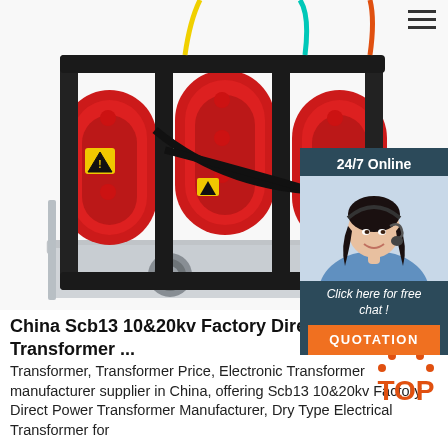[Figure (photo): A dry-type electrical transformer (SCB13 model) with red cylindrical coils, black cables, yellow and teal wires, mounted on a silver metal base frame. Industrial equipment photograph on white background.]
[Figure (photo): A woman wearing a headset smiling, representing a 24/7 online chat support representative. Dark-paneled side widget with '24/7 Online' text, 'Click here for free chat!' text in italic, and an orange QUOTATION button.]
China Scb13 10&20kv Factory Direct Power Transformer ...
Transformer, Transformer Price, Electronic Transformer manufacturer supplier in China, offering Scb13 10&20kv Factory Direct Power Transformer Manufacturer, Dry Type Electrical Transformer for